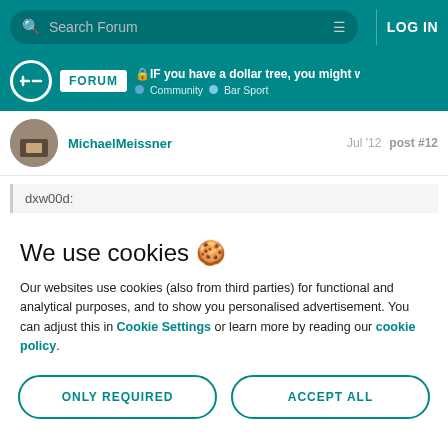Search Forum | LOG IN
IF you have a dollar tree, you might wann... | Community | Bar Sport
MichaelMeissner   Jul '12   post #12
dxw00d:
We use cookies 🍪
Our websites use cookies (also from third parties) for functional and analytical purposes, and to show you personalised advertisement. You can adjust this in Cookie Settings or learn more by reading our cookie policy.
ONLY REQUIRED
ACCEPT ALL